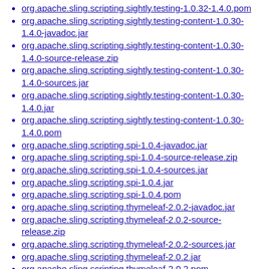org.apache.sling.scripting.sightly.testing-1.0.32-1.4.0.pom
org.apache.sling.scripting.sightly.testing-content-1.0.30-1.4.0-javadoc.jar
org.apache.sling.scripting.sightly.testing-content-1.0.30-1.4.0-source-release.zip
org.apache.sling.scripting.sightly.testing-content-1.0.30-1.4.0-sources.jar
org.apache.sling.scripting.sightly.testing-content-1.0.30-1.4.0.jar
org.apache.sling.scripting.sightly.testing-content-1.0.30-1.4.0.pom
org.apache.sling.scripting.spi-1.0.4-javadoc.jar
org.apache.sling.scripting.spi-1.0.4-source-release.zip
org.apache.sling.scripting.spi-1.0.4-sources.jar
org.apache.sling.scripting.spi-1.0.4.jar
org.apache.sling.scripting.spi-1.0.4.pom
org.apache.sling.scripting.thymeleaf-2.0.2-javadoc.jar
org.apache.sling.scripting.thymeleaf-2.0.2-source-release.zip
org.apache.sling.scripting.thymeleaf-2.0.2-sources.jar
org.apache.sling.scripting.thymeleaf-2.0.2.jar
org.apache.sling.scripting.thymeleaf-2.0.2.pom
org.apache.sling.security-1.1.24-source-release.zip
org.apache.sling.security-1.1.24-sources.jar
org.apache.sling.security-1.1.24.jar
org.apache.sling.security-1.1.24.pom